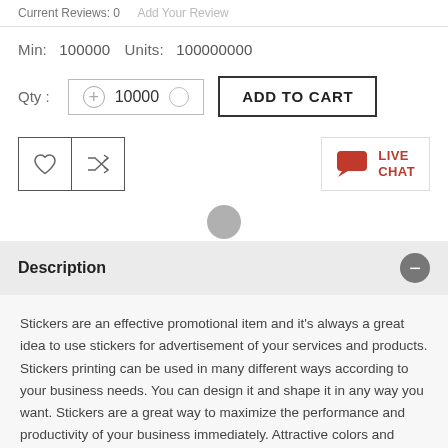Current Reviews: 0   Add Your Review
Min:  100000  Units:  100000000
Qty :  10000  ADD TO CART
[Figure (screenshot): Wishlist and shuffle icon buttons, plus a Live Chat button on the right]
Description
Stickers are an effective promotional item and it's always a great idea to use stickers for advertisement of your services and products. Stickers printing can be used in many different ways according to your business needs. You can design it and shape it in any way you want. Stickers are a great way to maximize the performance and productivity of your business immediately. Attractive colors and designs of stickers play a vital role in getting